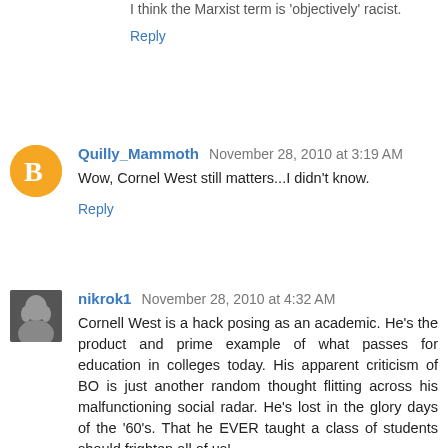I think the Marxist term is 'objectively' racist.
Reply
Quilly_Mammoth November 28, 2010 at 3:19 AM
Wow, Cornel West still matters...I didn't know.
Reply
nikrok1 November 28, 2010 at 4:32 AM
Cornell West is a hack posing as an academic. He's the product and prime example of what passes for education in colleges today. His apparent criticism of BO is just another random thought flitting across his malfunctioning social radar. He's lost in the glory days of the '60's. That he EVER taught a class of students should frighten all of us!
That Obama is some sort or "American Caesar" is a complete misnomer. MacArthur was the only person in the history of this country who can possibly garner that title.
Reply